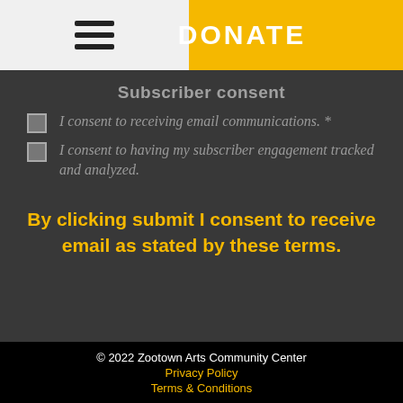DONATE
Subscriber consent
I consent to receiving email communications. *
I consent to having my subscriber engagement tracked and analyzed.
By clicking submit I consent to receive email as stated by these terms.
© 2022 Zootown Arts Community Center
Privacy Policy
Terms & Conditions